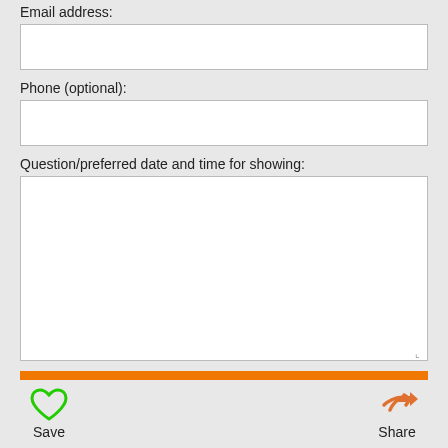Email address:
[Figure (other): Empty email address text input field]
Phone (optional):
[Figure (other): Empty phone number text input field]
Question/preferred date and time for showing:
[Figure (other): Large empty textarea for question or preferred date/time for showing]
[Figure (other): Orange 'Send question/request' submit button]
[Figure (other): Green heart Save icon with label Save]
[Figure (other): Orange share arrow icon with label Share]